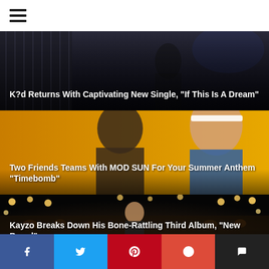≡
[Figure (photo): Dark moody photo background for K?d article]
K?d Returns With Captivating New Single, “If This Is A Dream”
[Figure (photo): Two male artists on golden/yellow background for Two Friends article]
Two Friends Teams With MOD SUN For Your Summer Anthem “Timebomb”
[Figure (photo): Kayzo performing at large outdoor festival with crowd and stage lights]
Kayzo Breaks Down His Bone-Rattling Third Album, “New Breed”
[Figure (photo): Partial view of next article image]
f  🐦  pinterest  g+  💬